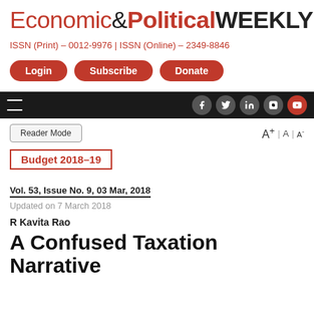Economic&PoliticalWEEKLY
ISSN (Print) – 0012-9976 | ISSN (Online) – 2349-8846
Login | Subscribe | Donate
Budget 2018–19
Vol. 53, Issue No. 9, 03 Mar, 2018
Updated on 7 March 2018
R Kavita Rao
A Confused Taxation Narrative